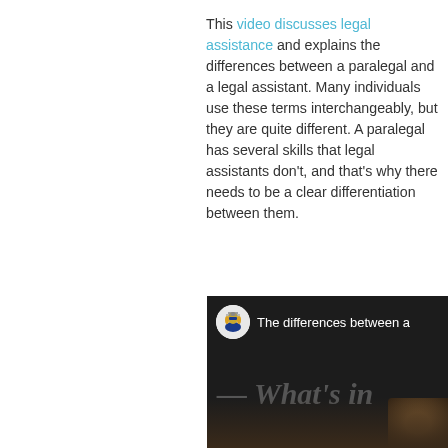This video discusses legal assistance and explains the differences between a paralegal and a legal assistant. Many individuals use these terms interchangeably, but they are quite different. A paralegal has several skills that legal assistants don't, and that's why there needs to be a clear differentiation between them.
[Figure (screenshot): A dark-themed video thumbnail showing a justice figure channel icon, the text 'The differences between a' in white, and italic bold text '— What's in' on a dark background with a blurred person visible at bottom right.]